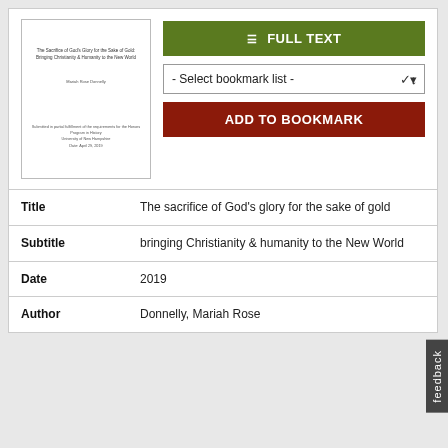[Figure (other): Thumbnail image of a document/thesis cover page]
FULL TEXT
- Select bookmark list -
ADD TO BOOKMARK
| Title | The sacrifice of God's glory for the sake of gold |
| Subtitle | bringing Christianity & humanity to the New World |
| Date | 2019 |
| Author | Donnelly, Mariah Rose |